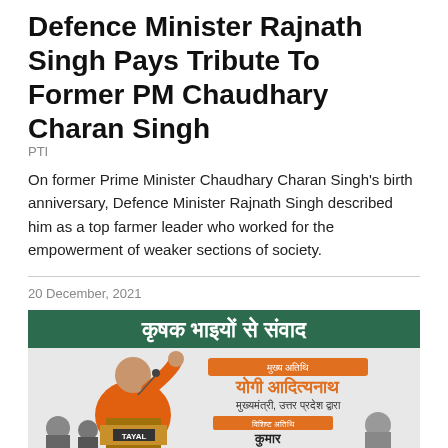Defence Minister Rajnath Singh Pays Tribute To Former PM Chaudhary Charan Singh
PTI
On former Prime Minister Chaudhary Charan Singh's birth anniversary, Defence Minister Rajnath Singh described him as a top farmer leader who worked for the empowerment of weaker sections of society.
20 December, 2021
[Figure (photo): A man in orange robes speaking at a podium labeled TAYAL, with a green banner in Hindi reading 'Krishak Bhaaiyon Se Samvaad' and text in orange mentioning Yogi Adityanath, Chief Minister of Uttar Pradesh]